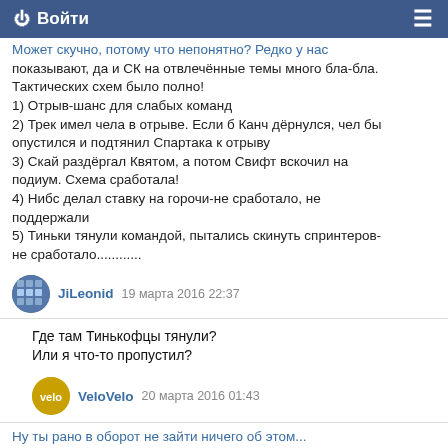⏻ Войти
Может скучно, потому что непонятно? Редко у нас показывают, да и СК на отвлечённые темы много бла-бла. Тактических схем было полно!
1) Отрыв-шанс для слабых команд
2) Трек имел чела в отрыве. Если б Канч дёрнулся, чел бы опустился и подтянил Спартака к отрыву
3) Скай раздёргал Квятом, а потом Свифт вскочил на подиум. Схема сработала!
4) Нибс делал ставку на горочи-не сработало, не поддержали
5) Тиньки тянули командой, пытались скинуть спринтеров-не сработало............
JiLeonid   19 марта 2016 22:37
Где там Тинькофцы тянули?
Или я что-то пропустил?
VeloVelo   20 марта 2016 01:43
Ну ты рано в оборот не зайти ничего об этом...